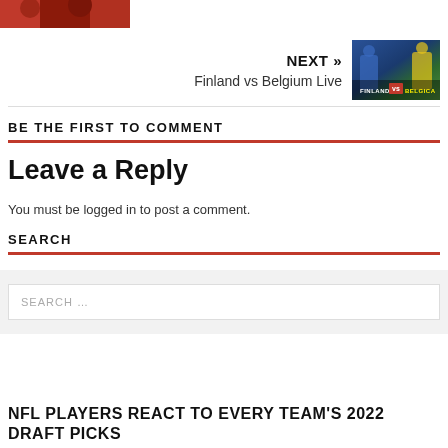[Figure (photo): Partial red-toned sports photo cropped at top left]
NEXT » Finland vs Belgium Live
[Figure (photo): Thumbnail image of Finland vs Belgium match with players and FINLANDIA vs BELGICA text overlay]
BE THE FIRST TO COMMENT
Leave a Reply
You must be logged in to post a comment.
SEARCH
SEARCH …
NFL PLAYERS REACT TO EVERY TEAM'S 2022 DRAFT PICKS